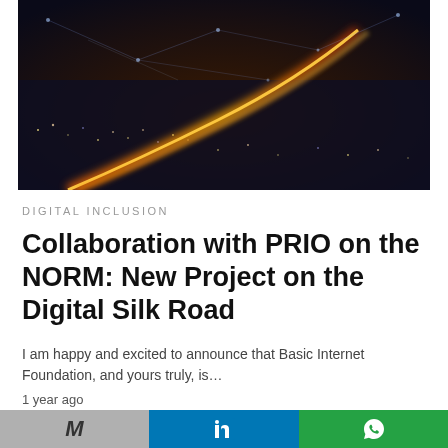[Figure (photo): Aerial night cityscape photo showing city lights and a glowing curved highway with bright light trails and network connection lines overlay]
DIGITAL INCLUSION
Collaboration with PRIO on the NORM: New Project on the Digital Silk Road
I am happy and excited to announce that Basic Internet Foundation, and yours truly, is…
1 year ago
[Figure (logo): Internet Society logo with dark blue text reading 'Internet Society' and partial triangle/arrow icon, partially cropped at bottom]
M  in  (whatsapp icon)